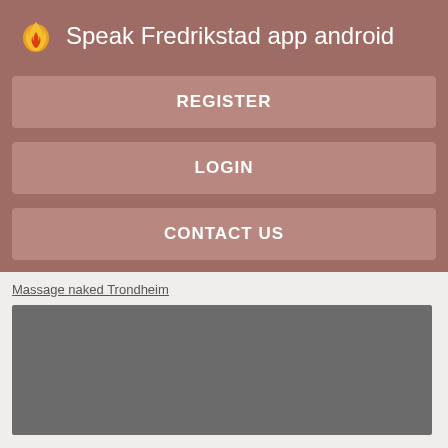Speak Fredrikstad app android
REGISTER
LOGIN
CONTACT US
Massage naked Trondheim
[Figure (other): Dark gray placeholder image block]